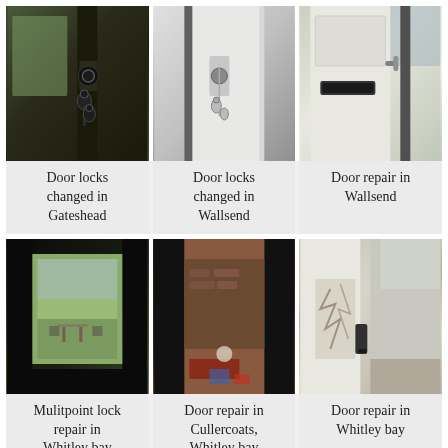[Figure (photo): Close-up of a dark door lock with keys inserted]
[Figure (photo): White door with keys hanging in lock]
[Figure (photo): White UPVC door showing handle and letterbox]
Door locks changed in Gateshead
Door locks changed in Wallsend
Door repair in Wallsend
[Figure (photo): Dark hallway looking through to garden with table and chairs outside]
[Figure (photo): Dark doorway with brick exterior visible, door ajar]
[Figure (photo): Damaged or forced door frame, white UPVC door]
Mulitpoint lock repair in Whitley bay
Door repair in Cullercoats, Whitley bay
Door repair in Whitley bay